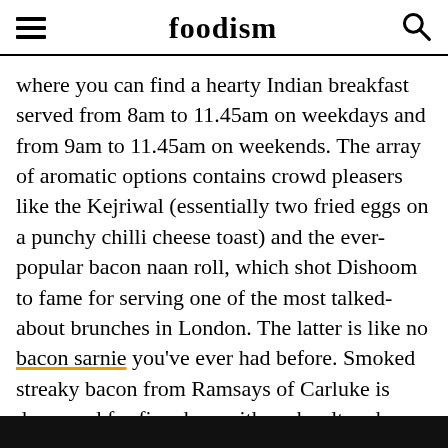foodism
where you can find a hearty Indian breakfast served from 8am to 11.45am on weekdays and from 9am to 11.45am on weekends. The array of aromatic options contains crowd pleasers like the Kejriwal (essentially two fried eggs on a punchy chilli cheese toast) and the ever-popular bacon naan roll, which shot Dishoom to fame for serving one of the most talked-about brunches in London. The latter is like no bacon sarnie you've ever had before. Smoked streaky bacon from Ramsays of Carluke is dry-cured for five days with rock salt and demerara sugar before being cold-smoked over